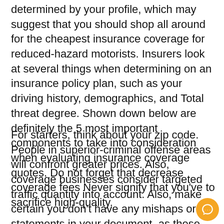determined by your profile, which may suggest that you should shop all around for the cheapest insurance coverage for reduced-hazard motorists. Insurers look at several things when determining on an insurance policy plan, such as your driving history, demographics, and Total threat degree. Shown down below are definitely the 5 most important components to take into consideration when evaluating insurance coverage quotes. Do not forget that decrease coverage fees Never signify that you've to sacrifice high-quality.
For starters, think about your zip code. People in superior-criminal offense areas will confront greater prices. Also, coverage businesses consider targeted traffic quantity into account. Also, make certain you don't have any mishaps or statements in your document, as these will increase your rates. Last of all, Remember that you'll want to Evaluate premiums every single 6 months in order to avoid shelling out in excess of It's important to. You should also take into